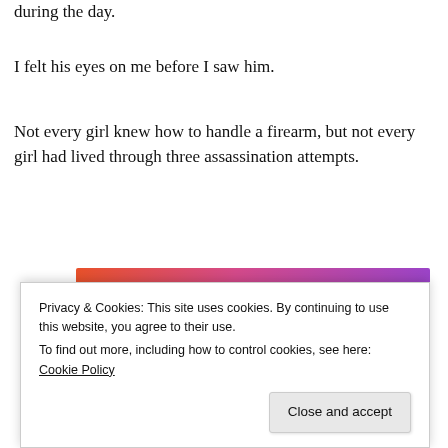during the day.
I felt his eyes on me before I saw him.
Not every girl knew how to handle a firearm, but not every girl had lived through three assassination attempts.
[Figure (illustration): Fandom on Tumblr promotional banner with colorful orange-to-purple gradient background and white decorative icons (skulls, music notes, hearts, arrows). Large bold text reads FANDOM ON tumblr.]
Privacy & Cookies: This site uses cookies. By continuing to use this website, you agree to their use.
To find out more, including how to control cookies, see here: Cookie Policy